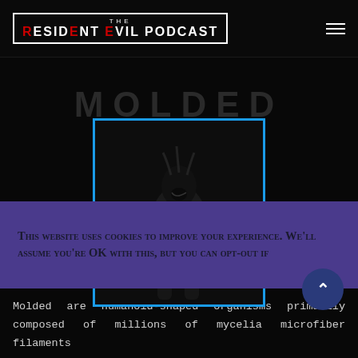THE RESIDENT EVIL PODCAST
[Figure (photo): Dark creature/monster humanoid figure (Molded) against black background, framed with blue border]
This website uses cookies to improve your experience. We'll assume you're OK with this, but you can opt-out if
Molded are humanoid-shaped organisms primarily composed of millions of mycelia microfiber filaments